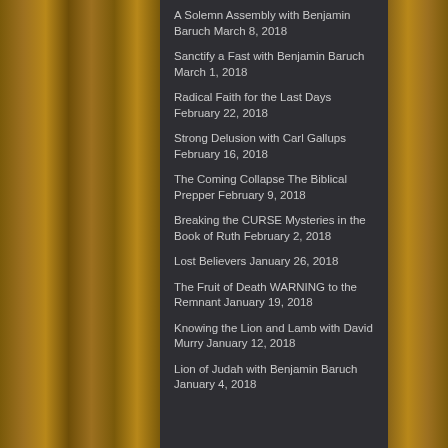A Solemn Assembly with Benjamin Baruch March 8, 2018
Sanctify a Fast with Benjamin Baruch March 1, 2018
Radical Faith for the Last Days February 22, 2018
Strong Delusion with Carl Gallups February 16, 2018
The Coming Collapse The Biblical Prepper February 9, 2018
Breaking the CURSE Mysteries in the Book of Ruth February 2, 2018
Lost Believers January 26, 2018
The Fruit of Death WARNING to the Remnant January 19, 2018
Knowing the Lion and Lamb with David Murry January 12, 2018
Lion of Judah with Benjamin Baruch January 4, 2018